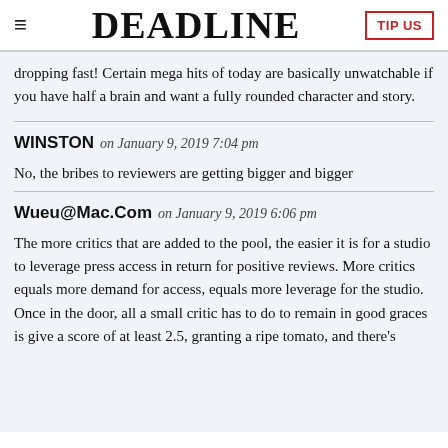≡  DEADLINE  TIP US
dropping fast! Certain mega hits of today are basically unwatchable if you have half a brain and want a fully rounded character and story.
WINSTON on January 9, 2019 7:04 pm
No, the bribes to reviewers are getting bigger and bigger
Wueu@Mac.Com on January 9, 2019 6:06 pm
The more critics that are added to the pool, the easier it is for a studio to leverage press access in return for positive reviews. More critics equals more demand for access, equals more leverage for the studio. Once in the door, all a small critic has to do to remain in good graces is give a score of at least 2.5, granting a ripe tomato, and there's